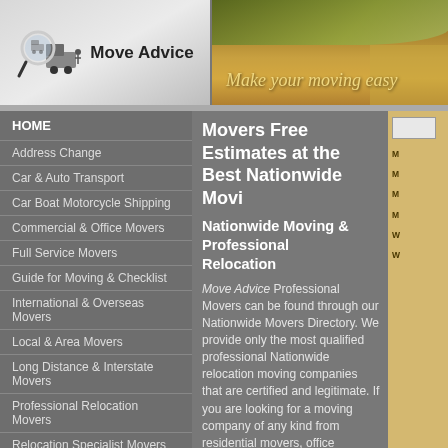[Figure (logo): Move Advice logo with magnifying glass and moving truck]
[Figure (photo): Banner photo with text 'Make your moving easy' over outdoor scene]
HOME
Address Change
Car & Auto Transport
Car Boat Motorcycle Shipping
Commercial & Office Movers
Full Service Movers
Guide for Moving & Checklist
International & Overseas Movers
Local & Area Movers
Long Distance & Interstate Movers
Professional Relocation Movers
Relocation Specialist Movers
Residential & Household Movers
Self Service Moving
Shipping & Delivery Companies
Movers Free Estimates at the Best Nationwide Movi...
Nationwide Moving & Professional Relocation
Move Advice Professional Movers can be found through our Nationwide Movers Directory. We provide only the most qualified professional Nationwide relocation moving companies that are certified and legitimate. If you are looking for a moving company of any kind from residential movers, office movers, local Nationwide movers and long distance nationwide professional movers, or car shipping and auto transport, or international moving companies